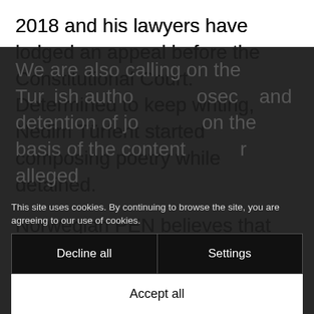2018 and his lawyers have lodged an appeal before the Constitutional Court. Determined to keep writing, Nedim Türfent started composing poetry while detained.
Norwegian PEN believes that Nedim Türfent is being imprisoned solely for the peaceful exercise of his right to freedom of expression and calls for his immediate and unconditional release.
We are also calling on the Turkish authorities to end prosecution and detention of journalists on the basis of the content of their writing or alleged
This site uses cookies. By continuing to browse the site, you are agreeing to our use of cookies.